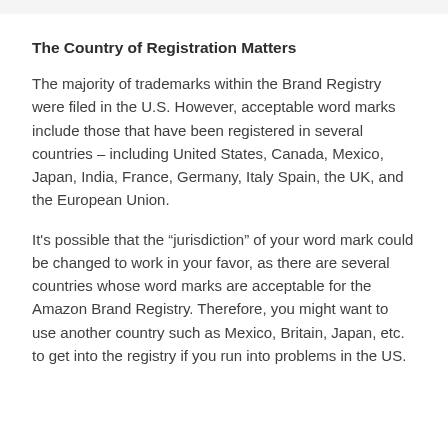The Country of Registration Matters
The majority of trademarks within the Brand Registry were filed in the U.S. However, acceptable word marks include those that have been registered in several countries – including United States, Canada, Mexico, Japan, India, France, Germany, Italy Spain, the UK, and the European Union.
It’s possible that the “jurisdiction” of your word mark could be changed to work in your favor, as there are several countries whose word marks are acceptable for the Amazon Brand Registry. Therefore, you might want to use another country such as Mexico, Britain, Japan, etc. to get into the registry if you run into problems in the US.